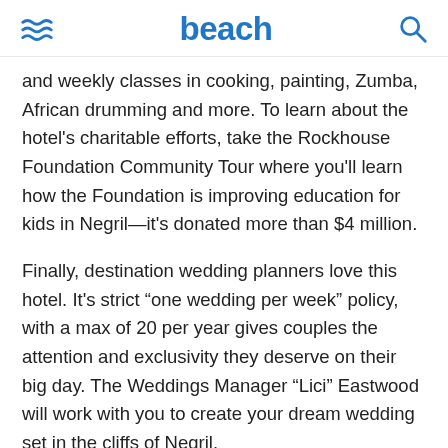beach
and weekly classes in cooking, painting, Zumba, African drumming and more. To learn about the hotel's charitable efforts, take the Rockhouse Foundation Community Tour where you'll learn how the Foundation is improving education for kids in Negril—it's donated more than $4 million.
Finally, destination wedding planners love this hotel. It's strict “one wedding per week” policy, with a max of 20 per year gives couples the attention and exclusivity they deserve on their big day. The Weddings Manager “Lici” Eastwood will work with you to create your dream wedding set in the cliffs of Negril.